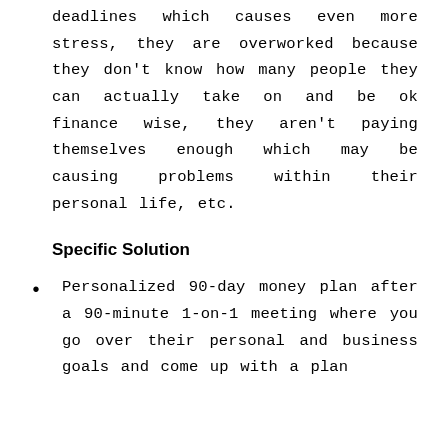deadlines which causes even more stress, they are overworked because they don't know how many people they can actually take on and be ok finance wise, they aren't paying themselves enough which may be causing problems within their personal life, etc.
Specific Solution
Personalized 90-day money plan after a 90-minute 1-on-1 meeting where you go over their personal and business goals and come up with a plan